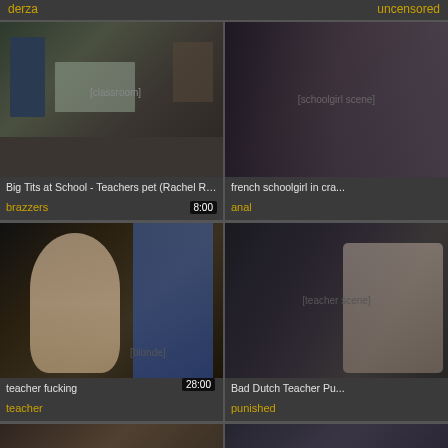derza
uncensored
[Figure (photo): Classroom scene thumbnail, 8:00 duration]
Big Tits at School - Teachers pet (Rachel RoXXX) g...
brazzers
[Figure (photo): French schoolgirl partial thumbnail]
french schoolgirl in cra...
anal
[Figure (photo): Blonde woman thumbnail, 28:00 duration]
teacher fucking
teacher
[Figure (photo): Bad Dutch Teacher partial thumbnail]
Bad Dutch Teacher Pu...
punished
[Figure (photo): Bottom partial row thumbnails]